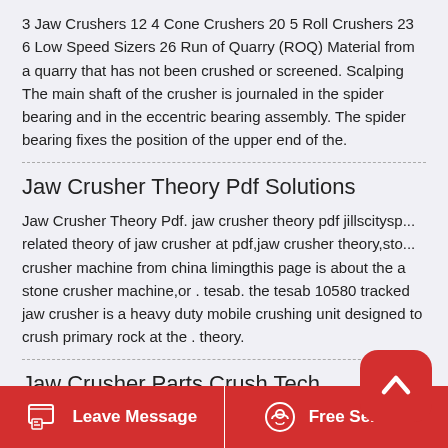3 Jaw Crushers 12 4 Cone Crushers 20 5 Roll Crushers 23 6 Low Speed Sizers 26 Run of Quarry (ROQ) Material from a quarry that has not been crushed or screened. Scalping The main shaft of the crusher is journaled in the spider bearing and in the eccentric bearing assembly. The spider bearing fixes the position of the upper end of the.
Jaw Crusher Theory Pdf Solutions
Jaw Crusher Theory Pdf. jaw crusher theory pdf jillscitysp... related theory of jaw crusher at pdf,jaw crusher theory,sto... crusher machine from china limingthis page is about the a stone crusher machine,or . tesab. the tesab 10580 tracked jaw crusher is a heavy duty mobile crushing unit designed to crush primary rock at the . theory.
Jaw Crusher Parts Crush Tech
Leave Message   Free Service